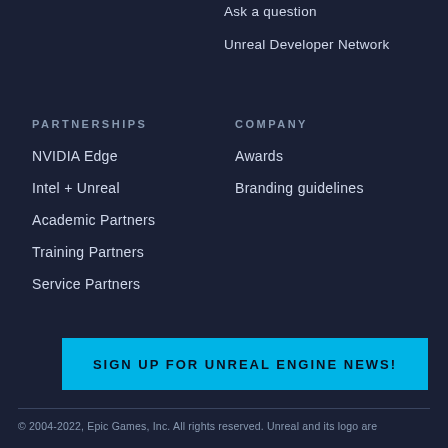Ask a question
Unreal Developer Network
PARTNERSHIPS
COMPANY
NVIDIA Edge
Awards
Intel + Unreal
Branding guidelines
Academic Partners
Training Partners
Service Partners
SIGN UP FOR UNREAL ENGINE NEWS!
© 2004-2022, Epic Games, Inc. All rights reserved. Unreal and its logo are